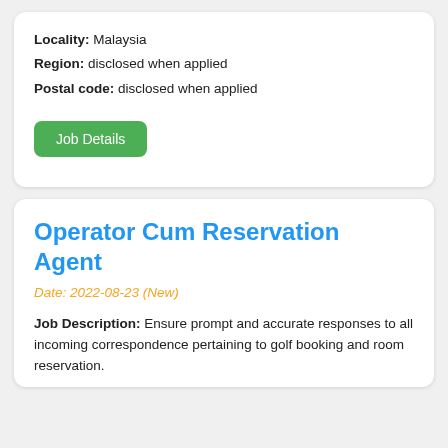Locality: Malaysia
Region: disclosed when applied
Postal code: disclosed when applied
Job Details
Operator Cum Reservation Agent
Date: 2022-08-23 (New)
Job Description: Ensure prompt and accurate responses to all incoming correspondence pertaining to golf booking and room reservation.